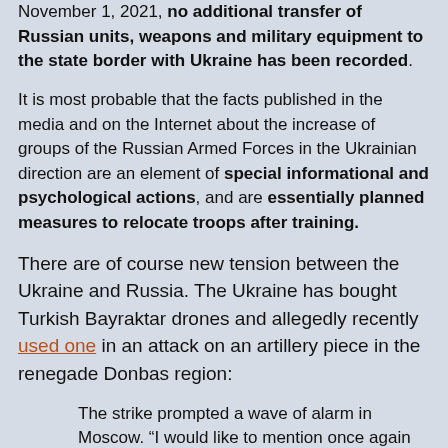November 1, 2021, no additional transfer of Russian units, weapons and military equipment to the state border with Ukraine has been recorded.
It is most probable that the facts published in the media and on the Internet about the increase of groups of the Russian Armed Forces in the Ukrainian direction are an element of special informational and psychological actions, and are essentially planned measures to relocate troops after training.
There are of course new tension between the Ukraine and Russia. The Ukraine has bought Turkish Bayraktar drones and allegedly recently used one in an attack on an artillery piece in the renegade Donbas region:
The strike prompted a wave of alarm in Moscow. “I would like to mention once again that the conflict in southeastern Ukraine has no military solution, as was acknowledged by all those countries that so much fret over civilians and, generally, the situation in Ukraine. The attempts to settle it by force will have very deplorable and somewhat incalculable but